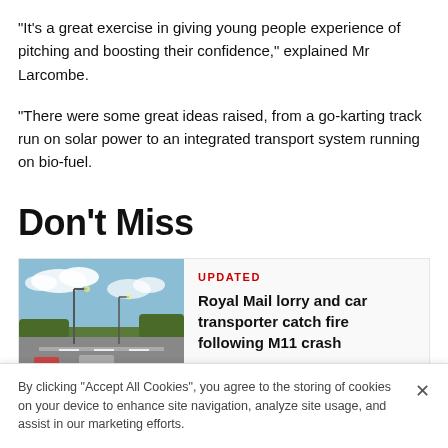"It's a great exercise in giving young people experience of pitching and boosting their confidence," explained Mr Larcombe.
"There were some great ideas raised, from a go-karting track run on solar power to an integrated transport system running on bio-fuel.
Don't Miss
[Figure (photo): Road scene with motorway and streetlights under a partly cloudy sky with trees in the background]
UPDATED
Royal Mail lorry and car transporter catch fire following M11 crash
By clicking "Accept All Cookies", you agree to the storing of cookies on your device to enhance site navigation, analyze site usage, and assist in our marketing efforts.